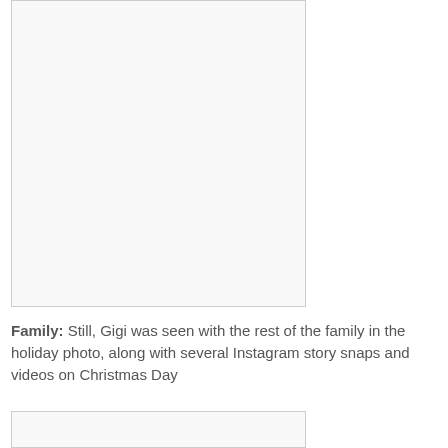[Figure (photo): A photo placeholder box (top image, partially visible, white/light gray background with border)]
Family: Still, Gigi was seen with the rest of the family in the holiday photo, along with several Instagram story snaps and videos on Christmas Day
[Figure (photo): A photo placeholder box (bottom image, partially visible, white/light gray background with border)]